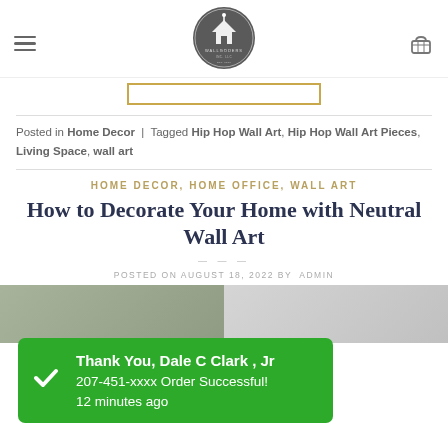Navigation bar with hamburger menu, Wallgoders logo, and cart icon
Posted in Home Decor | Tagged Hip Hop Wall Art, Hip Hop Wall Art Pieces, Living Space, wall art
HOME DECOR, HOME OFFICE, WALL ART
How to Decorate Your Home with Neutral Wall Art
POSTED ON AUGUST 18, 2022 BY ADMIN
[Figure (screenshot): Green notification popup overlay showing: Thank You, Dale C Clark, Jr — 207-451-xxxx Order Successful! — 12 minutes ago]
[Figure (photo): Bottom image strip showing two partial photos of wall art]